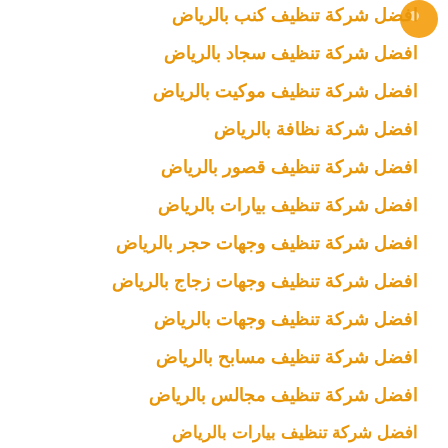[Figure (logo): Orange circular logo icon in top right corner]
افضل شركة تنظيف كنب بالرياض
افضل شركة تنظيف سجاد بالرياض
افضل شركة تنظيف موكيت بالرياض
افضل شركة نظافة بالرياض
افضل شركة تنظيف قصور بالرياض
افضل شركة تنظيف بيارات بالرياض
افضل شركة تنظيف وجهات حجر بالرياض
افضل شركة تنظيف وجهات زجاج بالرياض
افضل شركة تنظيف وجهات بالرياض
افضل شركة تنظيف مسابح بالرياض
افضل شركة تنظيف مجالس بالرياض
افضل شركة تنظيف بيارات بالرياض